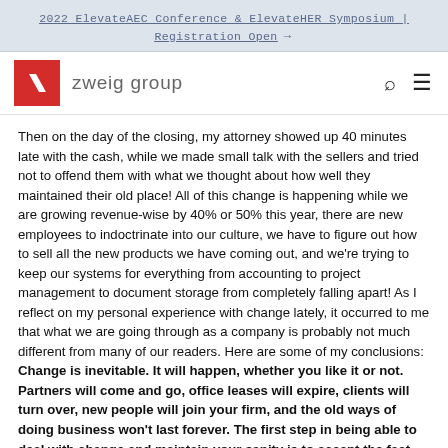2022 ElevateAEC Conference & ElevateHER Symposium | Registration Open →
[Figure (logo): Zweig Group logo — red square with white angular slash mark, followed by text 'zweig group' in grey sans-serif. Navigation icons (search, hamburger menu) on the right.]
Then on the day of the closing, my attorney showed up 40 minutes late with the cash, while we made small talk with the sellers and tried not to offend them with what we thought about how well they maintained their old place! All of this change is happening while we are growing revenue-wise by 40% or 50% this year, there are new employees to indoctrinate into our culture, we have to figure out how to sell all the new products we have coming out, and we're trying to keep our systems for everything from accounting to project management to document storage from completely falling apart! As I reflect on my personal experience with change lately, it occurred to me that what we are going through as a company is probably not much different from many of our readers. Here are some of my conclusions: Change is inevitable. It will happen, whether you like it or not. Partners will come and go, office leases will expire, clients will turn over, new people will join your firm, and the old ways of doing business won't last forever. The first step in being able to deal with change and maintain your sanity is to accept the fact that change is always around the corner, and that nothing stays the same forever. Change is